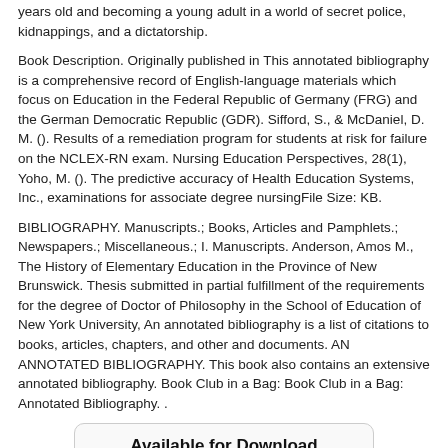years old and becoming a young adult in a world of secret police, kidnappings, and a dictatorship.
Book Description. Originally published in This annotated bibliography is a comprehensive record of English-language materials which focus on Education in the Federal Republic of Germany (FRG) and the German Democratic Republic (GDR). Sifford, S., & McDaniel, D. M. (). Results of a remediation program for students at risk for failure on the NCLEX-RN exam. Nursing Education Perspectives, 28(1), Yoho, M. (). The predictive accuracy of Health Education Systems, Inc., examinations for associate degree nursingFile Size: KB.
BIBLIOGRAPHY. Manuscripts.; Books, Articles and Pamphlets.; Newspapers.; Miscellaneous.; I. Manuscripts. Anderson, Amos M., The History of Elementary Education in the Province of New Brunswick. Thesis submitted in partial fulfillment of the requirements for the degree of Doctor of Philosophy in the School of Education of New York University, An annotated bibliography is a list of citations to books, articles, chapters, and other and documents. AN ANNOTATED BIBLIOGRAPHY. This book also contains an extensive annotated bibliography. Book Club in a Bag: Book Club in a Bag: Annotated Bibliography. .
[Figure (infographic): A download box with title 'Available for Download' and two buttons: 'Download PDF' and 'Download EPUB']